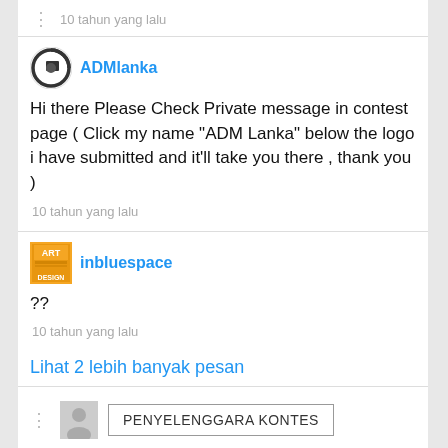10 tahun yang lalu
ADMlanka
Hi there Please Check Private message in contest page ( Click my name "ADM Lanka" below the logo i have submitted and it'll take you there , thank you )
10 tahun yang lalu
inbluespace
??
10 tahun yang lalu
Lihat 2 lebih banyak pesan
PENYELENGGARA KONTES